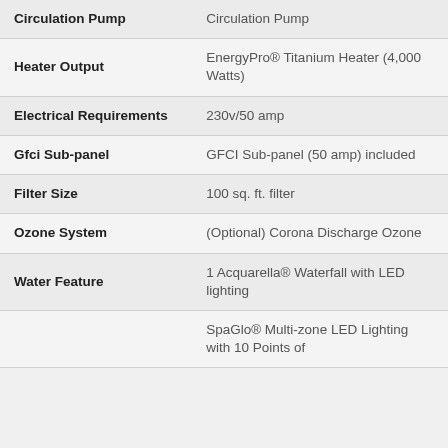| Feature | Detail |
| --- | --- |
| Circulation Pump | Circulation Pump |
| Heater Output | EnergyPro® Titanium Heater (4,000 Watts) |
| Electrical Requirements | 230v/50 amp |
| Gfci Sub-panel | GFCI Sub-panel (50 amp) included |
| Filter Size | 100 sq. ft. filter |
| Ozone System | (Optional) Corona Discharge Ozone |
| Water Feature | 1 Acquarella® Waterfall with LED lighting |
|  | SpaGlo® Multi-zone LED Lighting with 10 Points of |